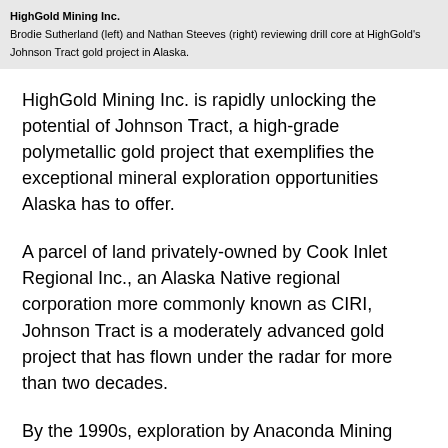HighGold Mining Inc.
Brodie Sutherland (left) and Nathan Steeves (right) reviewing drill core at HighGold's Johnson Tract gold project in Alaska.
HighGold Mining Inc. is rapidly unlocking the potential of Johnson Tract, a high-grade polymetallic gold project that exemplifies the exceptional mineral exploration opportunities Alaska has to offer.
A parcel of land privately-owned by Cook Inlet Regional Inc., an Alaska Native regional corporation more commonly known as CIRI, Johnson Tract is a moderately advanced gold project that has flown under the radar for more than two decades.
By the 1990s, exploration by Anaconda Mining and Westmin Resources Ltd. had outlined an estimated 1.04 million metric tons of resource averaging 10.05 grams per metric ton gold, 7.63 g/t silver, 8.32% zinc, and 1.13% lead had been outlined in what is now known as the JT deposit on the 20,942-acre Johnson